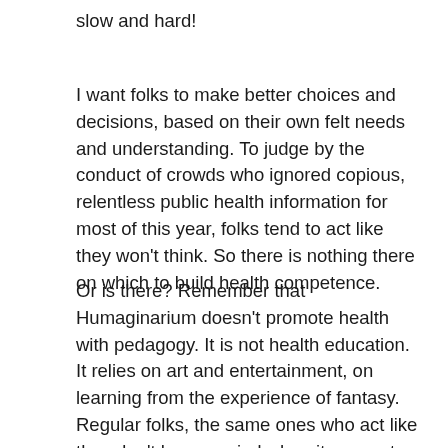slow and hard!
I want folks to make better choices and decisions, based on their own felt needs and understanding. To judge by the conduct of crowds who ignored copious, relentless public health information for most of this year, folks tend to act like they won't think. So there is nothing there on which to build health competence.
Or is there? Remember that Humaginarium doesn't promote health with pedagogy. It is not health education. It relies on art and entertainment, on learning from the experience of fantasy. Regular folks, the same ones who act like they don't have a mind when it comes to their